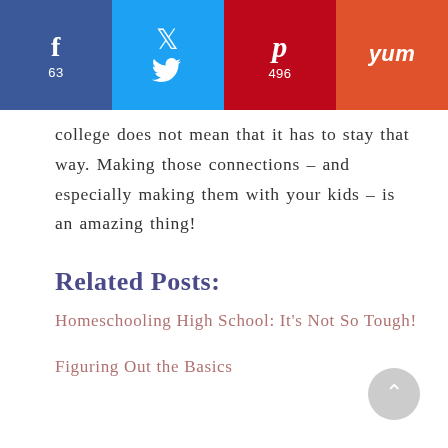[Figure (infographic): Social share bar with four buttons: Facebook (63 shares, dark blue), Twitter (light blue), Pinterest (496 shares, dark red), and Yummly (orange)]
college does not mean that it has to stay that way. Making those connections – and especially making them with your kids – is an amazing thing!
Related Posts:
Homeschooling High School: It's Not So Tough!
Figuring Out the Basics